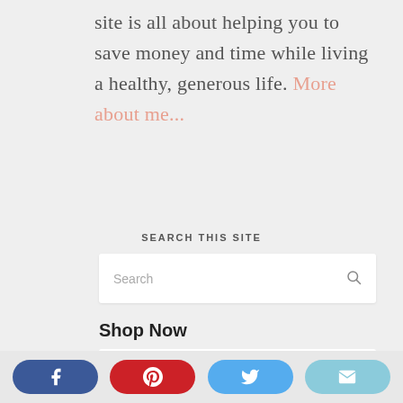site is all about helping you to save money and time while living a healthy, generous life. More about me...
SEARCH THIS SITE
[Figure (other): Search input box with magnifying glass icon]
Shop Now
[Figure (photo): Product image showing colorful food/snack items]
[Figure (infographic): Social sharing buttons: Facebook (blue), Pinterest (red), Twitter (light blue), Email (light teal)]